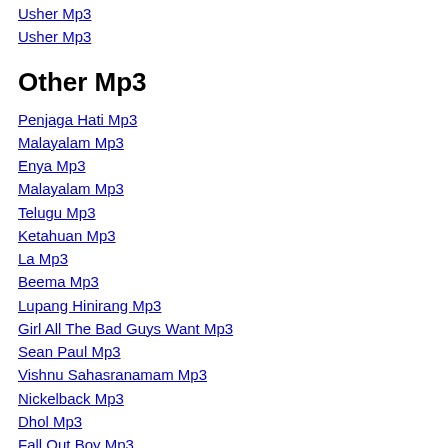Usher Mp3
Usher Mp3
Other Mp3
Penjaga Hati Mp3
Malayalam Mp3
Enya Mp3
Malayalam Mp3
Telugu Mp3
Ketahuan Mp3
La Mp3
Beema Mp3
Lupang Hinirang Mp3
Girl All The Bad Guys Want Mp3
Sean Paul Mp3
Vishnu Sahasranamam Mp3
Nickelback Mp3
Dhol Mp3
Fall Out Boy Mp3
Rastin Mp3
Music Mp3
Lana Mp3